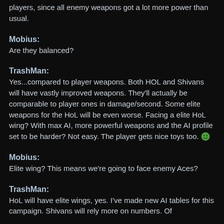players, since all enemy weapons got a lot more power than usual.
Mobius:
Are they balanced?
TrashMan:
Yes...compared to player weapons. Both HOL and Shivans will have vastly improved weapons. They'll actually be comparable to player ones in damage/second. Some elite weapons for the HoL will be even worse. Facing a elite HoL wing? With max AI, more powerful weapons and the AI profile set to be harder? Not easy. The player gets nice toys too. 🙂
Mobius:
Elite wing? This means we're going to face enemy Aces?
TrashMan:
HoL will have elite wings, yes. I've made new AI tables for this campaign. Shivans will rely more on numbers. Of